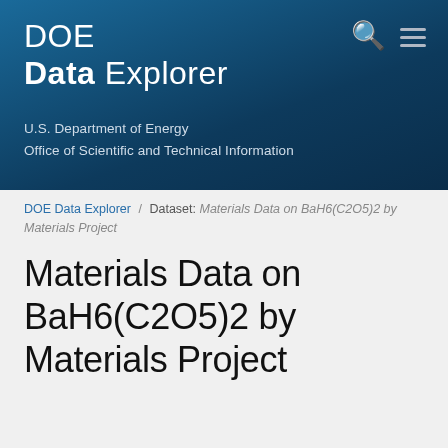DOE Data Explorer
U.S. Department of Energy
Office of Scientific and Technical Information
DOE Data Explorer / Dataset: Materials Data on BaH6(C2O5)2 by Materials Project
Materials Data on BaH6(C2O5)2 by Materials Project